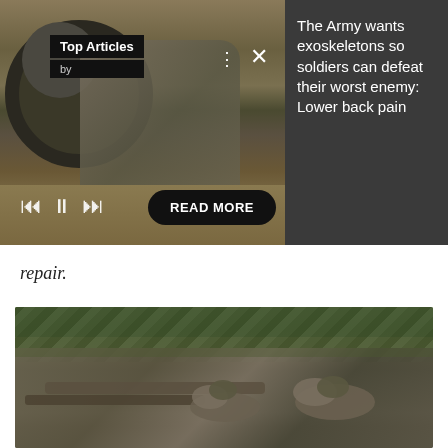[Figure (photo): Split-panel UI showing military article viewer. Left panel: photo of soldier in camouflage working on military equipment/artillery near a large wheel. Overlaid with 'Top Articles' black label, 'by' line, media playback controls (skip back, pause, skip forward), and a 'READ MORE' button. Right panel: dark gray background with white headline text. Control icons (dots menu, X close) visible.]
The Army wants exoskeletons so soldiers can defeat their worst enemy: Lower back pain
repair.
[Figure (photo): Photo of soldiers in camouflage uniforms lying prone behind military artillery equipment under camouflage netting in a wooded outdoor setting.]